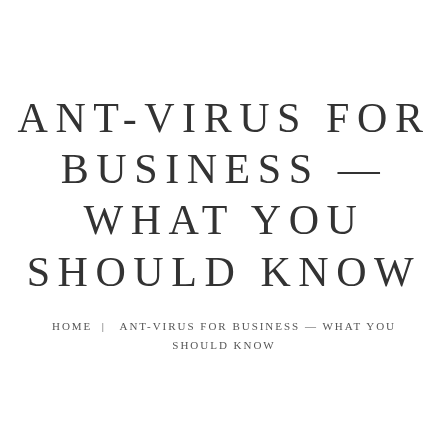ANT-VIRUS FOR BUSINESS — WHAT YOU SHOULD KNOW
HOME | ANT-VIRUS FOR BUSINESS — WHAT YOU SHOULD KNOW